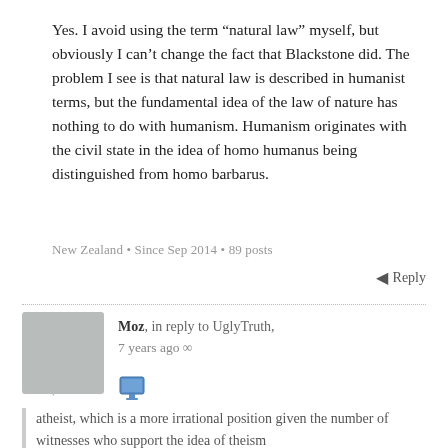Yes. I avoid using the term “natural law” myself, but obviously I can’t change the fact that Blackstone did. The problem I see is that natural law is described in humanist terms, but the fundamental idea of the law of nature has nothing to do with humanism. Humanism originates with the civil state in the idea of homo humanus being distinguished from homo barbarus.
New Zealand • Since Sep 2014 • 89 posts
◄ Reply
Moz, in reply to UglyTruth, 7 years ago
atheist, which is a more irrational position given the number of witnesses who support the idea of theism
Interesting that your god is so democratic. Most of them are more “my way or the highway”.
Doesn’t that cause problems since numerically